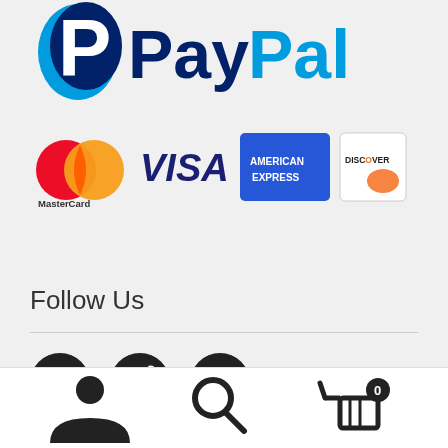[Figure (logo): PayPal logo with blue P symbol and PayPal text in dark blue]
[Figure (logo): Payment method logos: MasterCard, VISA, American Express, Discover]
Follow Us
[Figure (illustration): Social media icons: Facebook, Twitter, Pinterest]
[Figure (illustration): Bottom navigation bar with user icon, search icon, and shopping cart icon with badge showing 0]